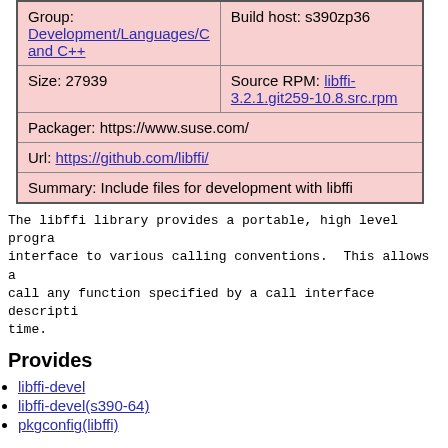| Group: Development/Languages/C and C++ | Build host: s390zp36 |
| Size: 27939 | Source RPM: libffi-3.2.1.git259-10.8.src.rpm |
| Packager: https://www.suse.com/ |  |
| Url: https://github.com/libffi/ |  |
| Summary: Include files for development with libffi |  |
The libffi library provides a portable, high level programming interface to various calling conventions.  This allows a program to call any function specified by a call interface description at run time.
Provides
libffi-devel
libffi-devel(s390-64)
pkgconfig(libffi)
Requires